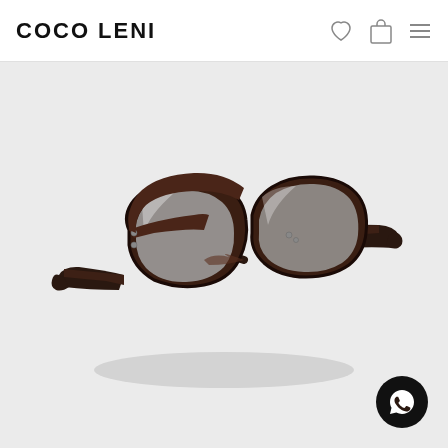COCO LENI
[Figure (photo): A pair of dark tortoiseshell/dark brown square-framed eyeglasses with thick acetate frames, photographed at a slight angle on a light gray background. The frames have small metal rivets at the hinges.]